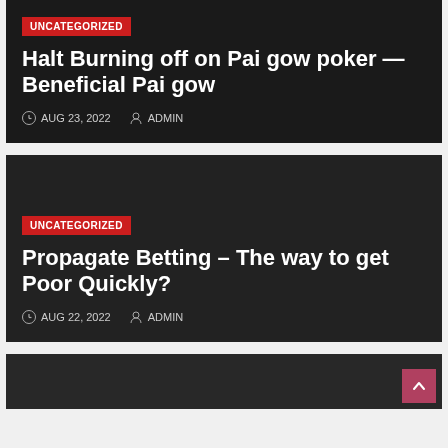UNCATEGORIZED
Halt Burning off on Pai gow poker — Beneficial Pai gow
AUG 23, 2022  ADMIN
UNCATEGORIZED
Propagate Betting – The way to get Poor Quickly?
AUG 22, 2022  ADMIN
[Figure (screenshot): Partial dark card at the bottom of the page]